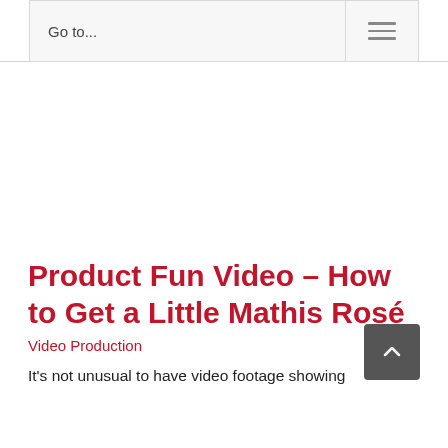Go to...
Product Fun Video – How to Get a Little Mathis Rosé
Video Production
It's not unusual to have video footage showing